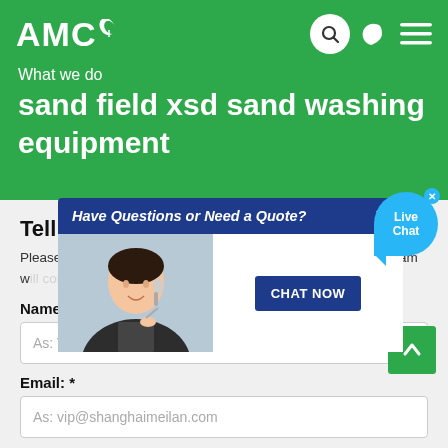AMC
What we do
sand field xsd sand washing equipment
Tell us what you are looking for?
Please complete and submit the following form and our sales team will contact you shortly with best prices.
Name: *
As: Tom
Email: *
As: vip@shanghaimeilan.com
Phone: *
[Figure (screenshot): Live chat popup overlay with text 'Have Questions or Need a Quote?' and a CHAT NOW button, showing a customer service representative image, and a Live Chat bubble in the top right.]